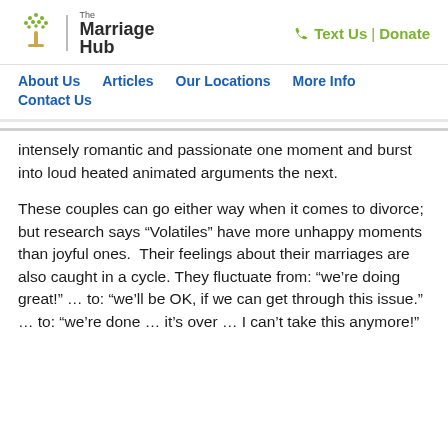The Marriage Hub | Text Us | Donate
About Us   Articles   Our Locations   More Info   Contact Us
intensely romantic and passionate one moment and burst into loud heated animated arguments the next.
These couples can go either way when it comes to divorce; but research says “Volatiles” have more unhappy moments than joyful ones.  Their feelings about their marriages are also caught in a cycle. They fluctuate from: “we’re doing great!” … to: “we’ll be OK, if we can get through this issue.” … to: “we’re done … it’s over … I can’t take this anymore!”